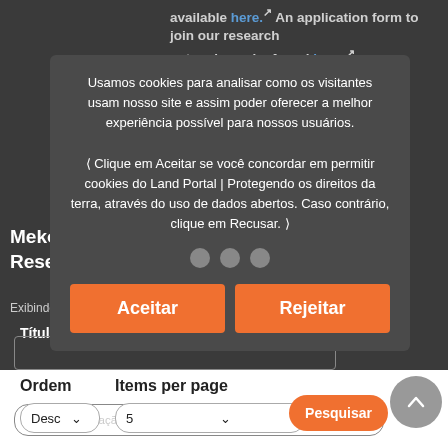available here. An application form to join our research network can be found here.
Mekong Land Research Forum Re... Exibindo 10...
Título
Sort by
Data da publicação Data da publicação
[Figure (screenshot): Cookie consent overlay dialog with Portuguese text: Usamos cookies para analisar como os visitantes usam nosso site e assim poder oferecer a melhor experiência possível para nossos usuários. Clique em Aceitar se você concordar em permitir cookies do Land Portal | Protegendo os direitos da terra, através do uso de dados abertos. Caso contrário, clique em Recusar. Three grey dots. Two orange buttons: Aceitar and Rejeitar.]
Ordem
Items per page
Desc
5
Pesquisar